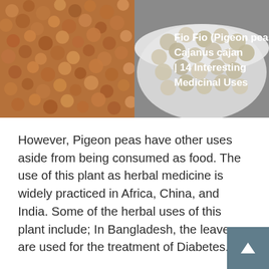[Figure (photo): Photograph of pigeon peas (Cajanus cajan) — loose brownish-red peas on the left half and white/grey peas in a bowl on the right half. White bold text overlaid reads: 'Fio Fio (Pigeon peas) – Cajanus cajan | 14 Interesting Medicinal Uses']
However, Pigeon peas have other uses aside from being consumed as food. The use of this plant as herbal medicine is widely practiced in Africa, China, and India. Some of the herbal uses of this plant include; In Bangladesh, the leaves are used for the treatment of Diabetes.